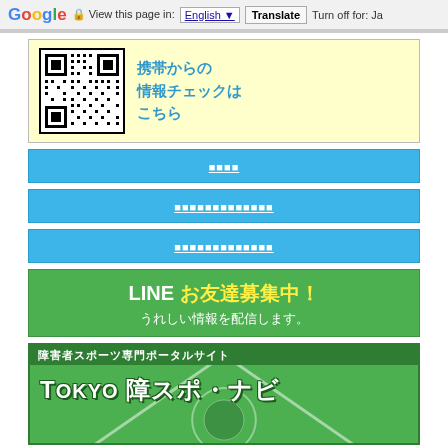Google  View this page in: English [▼]  Translate  Turn off for: Ja
[Figure (other): QR code for mobile information access with Japanese text: 携帯からの情報チェックはこちら on yellow background]
（日本語リンクボタン1）
（日本語リンクボタン2）
（日本語リンクボタン3）
[Figure (other): LINE banner: LINE お友達募集中！うれしい情報を配信します。on green background]
[Figure (other): Tokyo 障スポ・ナビ — 障害者スポーツ専門ポータルサイト banner on green background with field design]